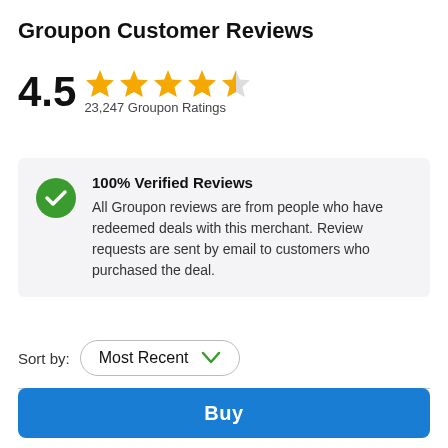Groupon Customer Reviews
4.5 ★★★★½ 23,247 Groupon Ratings
100% Verified Reviews
All Groupon reviews are from people who have redeemed deals with this merchant. Review requests are sent by email to customers who purchased the deal.
Sort by: Most Recent
Guest
Buy